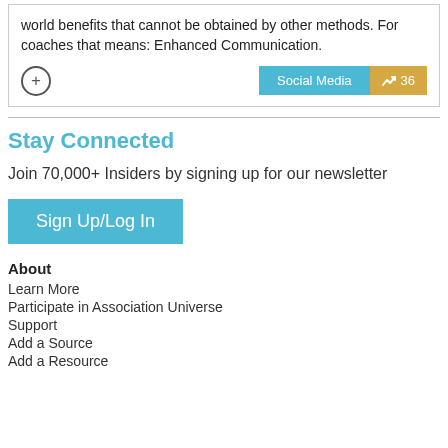world benefits that cannot be obtained by other methods. For coaches that means: Enhanced Communication.
[Figure (other): Circle plus icon button, Social Media tag badge (teal), and trending up icon with count 36 (gold)]
Stay Connected
Join 70,000+ Insiders by signing up for our newsletter
Sign Up/Log In
About
Learn More
Participate in Association Universe
Support
Add a Source
Add a Resource